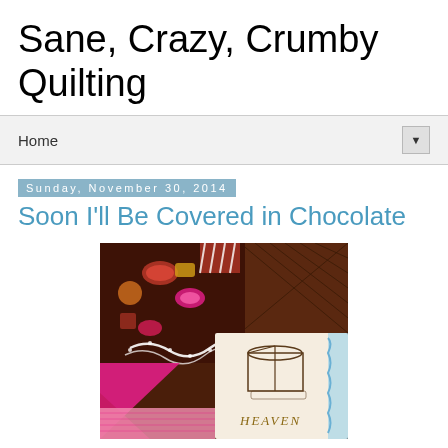Sane, Crazy, Crumby Quilting
Home
Sunday, November 30, 2014
Soon I'll Be Covered in Chocolate
[Figure (photo): Close-up photograph of a quilt featuring chocolate-themed fabric with embroidered cake block and decorative lace trim, pink and brown fabrics visible]